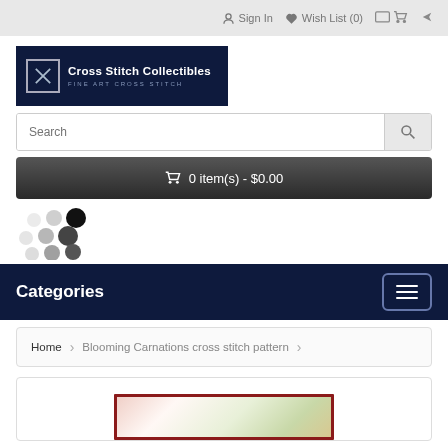Sign In  Wish List (0)
[Figure (logo): Cross Stitch Collectibles logo — white text on dark navy background with X icon and tagline FINE ART CROSS STITCH]
Search
0 item(s) - $0.00
[Figure (other): Loading spinner dots animation]
Categories
Home  Blooming Carnations cross stitch pattern
[Figure (photo): Partial view of Blooming Carnations cross stitch pattern product image in dark red frame]